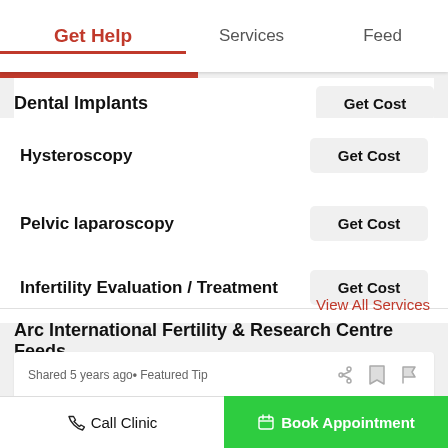Get Help | Services | Feed
Dental Implants  Get Cost
Hysteroscopy  Get Cost
Pelvic laparoscopy  Get Cost
Infertility Evaluation / Treatment  Get Cost
View All Services
Arc International Fertility & Research Centre Feeds
Shared 5 years ago• Featured Tip
IVF - What is the Prognosis for it?
Call Clinic  Book Appointment